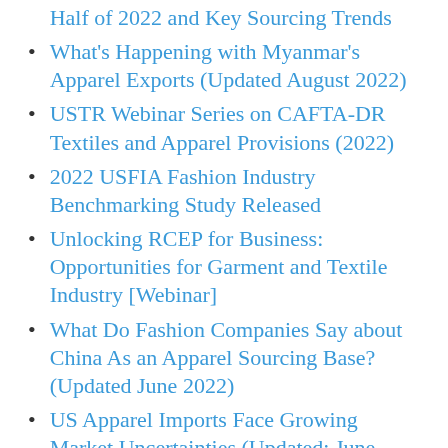Half of 2022 and Key Sourcing Trends
What’s Happening with Myanmar’s Apparel Exports (Updated August 2022)
USTR Webinar Series on CAFTA-DR Textiles and Apparel Provisions (2022)
2022 USFIA Fashion Industry Benchmarking Study Released
Unlocking RCEP for Business: Opportunities for Garment and Textile Industry [Webinar]
What Do Fashion Companies Say about China As an Apparel Sourcing Base? (Updated June 2022)
US Apparel Imports Face Growing Market Uncertainties (Updated: June 2022)
Summary of CRS Reports in 2022: Selected Key Trade Issues for US Congress